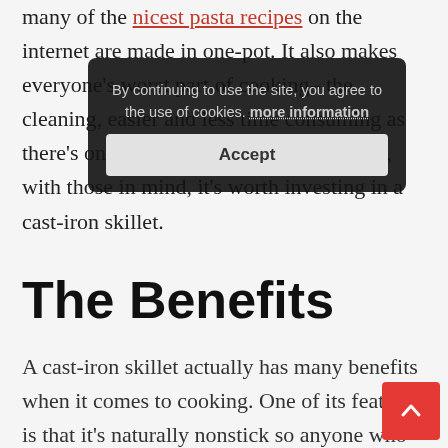many of the nicest pasta recipes on the internet are made in one-pot. It also makes everyone's worst part of cooking– the cleaning, easier and less time consuming as there's only 1 dish for you to wash up. So, with those in mind, it's worth investing in a cast-iron skillet.
[Figure (other): Cookie consent popup overlay with dark background, text reading 'By continuing to use the site, you agree to the use of cookies. more information' and an Accept button.]
The Benefits
A cast-iron skillet actually has many benefits when it comes to cooking. One of its features is that it's naturally nonstick so anyone who dislikes cooking their food with oil won't have to with a cast-iron skillet. Cast iron skillets can be used both on a stovetop and in the oven, this is a